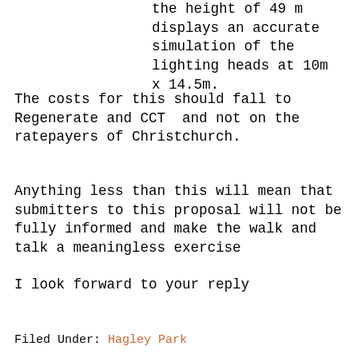the height of 49 m displays an accurate simulation of the lighting heads at 10m x 14.5m.
The costs for this should fall to Regenerate and CCT  and not on the ratepayers of Christchurch.
Anything less than this will mean that submitters to this proposal will not be fully informed and make the walk and talk a meaningless exercise
I look forward to your reply
Filed Under: Hagley Park